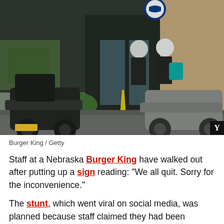[Figure (photo): Two delivery riders in helmets exiting a Burger King restaurant, with two scooters parked in front on a wet day]
Burger King / Getty
Staff at a Nebraska Burger King have walked out after putting up a sign reading: “We all quit. Sorry for the inconvenience.”
The stunt, which went viral on social media, was planned because staff claimed they had been understaffed for months and were forced to work terrible conditions including in hot kitchens without air conditioning